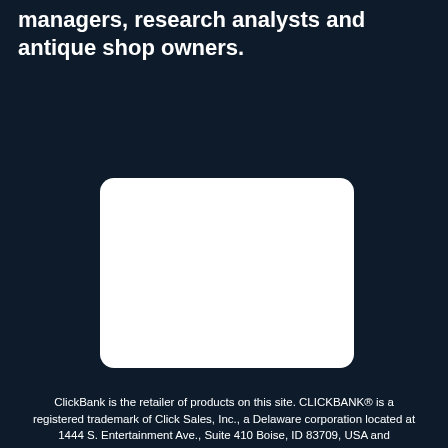managers, research analysts and antique shop owners.
[Figure (other): White rounded rectangle card/image placeholder on dark navy background]
ClickBank is the retailer of products on this site. CLICKBANK® is a registered trademark of Click Sales, Inc., a Delaware corporation located at 1444 S. Entertainment Ave., Suite 410 Boise, ID 83709, USA and